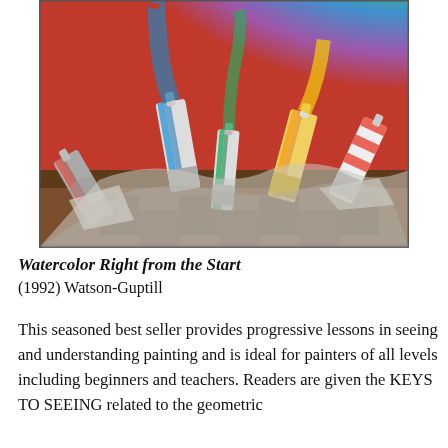[Figure (illustration): Watercolor painting showing several tubes of paint with colorful smoke or paint rising upward in rainbow colors (red, blue, green, yellow) against a red background, tubes crumpled and scattered on a surface.]
Watercolor Right from the Start
(1992) Watson-Guptill
This seasoned best seller provides progressive lessons in seeing and understanding painting and is ideal for painters of all levels including beginners and teachers. Readers are given the KEYS TO SEEING related to the geometric